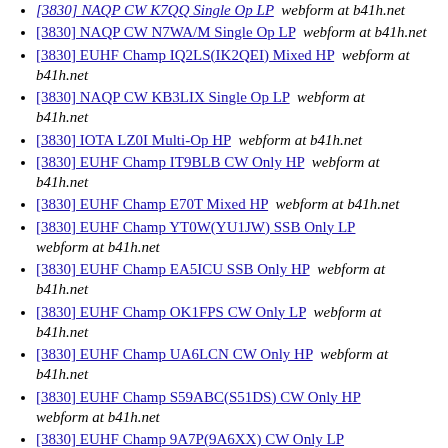[3830] NAQP CW K7QQ Single Op LP  webform at b41h.net
[3830] NAQP CW N7WA/M Single Op LP  webform at b41h.net
[3830] EUHF Champ IQ2LS(IK2QEI) Mixed HP  webform at b41h.net
[3830] NAQP CW KB3LIX Single Op LP  webform at b41h.net
[3830] IOTA LZ0I Multi-Op HP  webform at b41h.net
[3830] EUHF Champ IT9BLB CW Only HP  webform at b41h.net
[3830] EUHF Champ E70T Mixed HP  webform at b41h.net
[3830] EUHF Champ YT0W(YU1JW) SSB Only LP  webform at b41h.net
[3830] EUHF Champ EA5ICU SSB Only HP  webform at b41h.net
[3830] EUHF Champ OK1FPS CW Only LP  webform at b41h.net
[3830] EUHF Champ UA6LCN CW Only HP  webform at b41h.net
[3830] EUHF Champ S59ABC(S51DS) CW Only HP  webform at b41h.net
[3830] EUHF Champ 9A7P(9A6XX) CW Only LP  webform at b41h.net